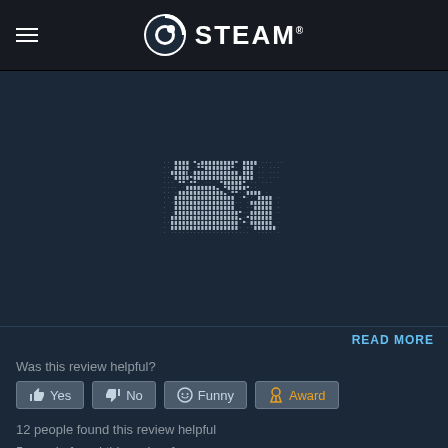STEAM
[Figure (illustration): ASCII art dot-matrix image made of dots and hash characters forming an abstract or character figure on a dark background]
READ MORE
Was this review helpful?
Yes | No | Funny | Award
12 people found this review helpful
5 people found this review funny